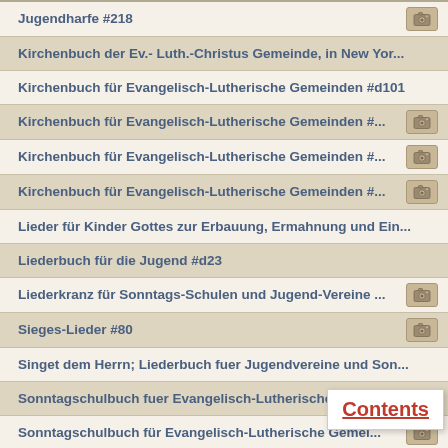Jugendharfe #218
Kirchenbuch der Ev.- Luth.-Christus Gemeinde, in New Yor...
Kirchenbuch für Evangelisch-Lutherische Gemeinden #d101
Kirchenbuch für Evangelisch-Lutherische Gemeinden #...
Kirchenbuch für Evangelisch-Lutherische Gemeinden #...
Kirchenbuch für Evangelisch-Lutherische Gemeinden #...
Lieder für Kinder Gottes zur Erbauung, Ermahnung und Ein...
Liederbuch für die Jugend #d23
Liederkranz für Sonntags-Schulen und Jugend-Vereine ...
Sieges-Lieder #80
Singet dem Herrn; Liederbuch fuer Jugendvereine und Son...
Sonntagschulbuch fuer Evangelisch-Lutherische Gemeind...
Sonntagschulbuch für Evangelisch-Lutherische Gemei...
Sonntagsschul-Gesangbuch der Reformirten Kirche in ...
Sonntagsschul-Gesangbuch der Reformirten Kirchen in de...
Unser Liederbuch, die schoensten Lieder fuer Sch...
Unser Liederhort, I Teil, Sammlung auserlsener Lieder... #